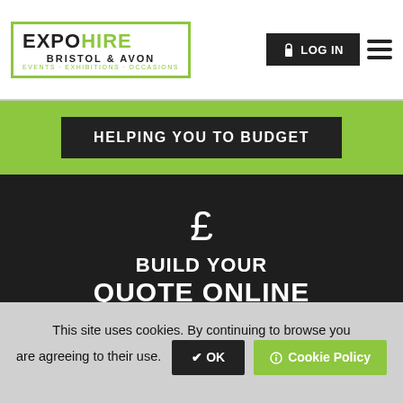EXPO HIRE BRISTOL & AVON — EVENTS · EXHIBITIONS · OCCASIONS
HELPING YOU TO BUDGET
[Figure (other): Pound sterling symbol (£) icon]
BUILD YOUR QUOTE ONLINE
Live prices & availability
This site uses cookies. By continuing to browse you are agreeing to their use.
✔ OK
Cookie Policy